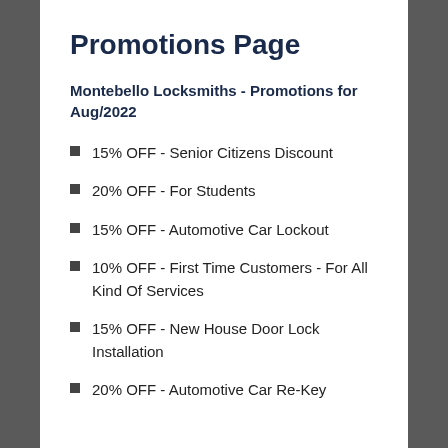Promotions Page
Montebello Locksmiths - Promotions for Aug/2022
15% OFF - Senior Citizens Discount
20% OFF - For Students
15% OFF - Automotive Car Lockout
10% OFF - First Time Customers - For All Kind Of Services
15% OFF - New House Door Lock Installation
20% OFF - Automotive Car Re-Key